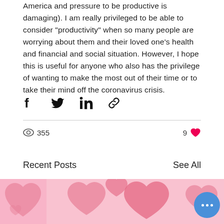America and pressure to be productive is damaging). I am really privileged to be able to consider "productivity" when so many people are worrying about them and their loved one's health and financial and social situation. However, I hope this is useful for anyone who also has the privilege of wanting to make the most out of their time or to take their mind off the coronavirus crisis.
[Figure (infographic): Social share buttons: Facebook, Twitter, LinkedIn, link/chain icon]
[Figure (infographic): View count: eye icon with 355 views; Like count: 9 with heart icon]
Recent Posts
See All
[Figure (photo): Two pink/rose colored images showing heart patterns on pink background, with a blue floating action button with three dots]